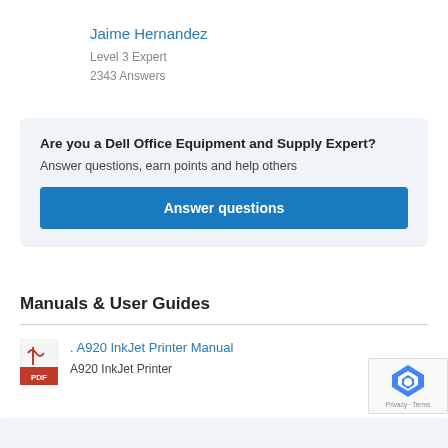Jaime Hernandez
Level 3 Expert
2343 Answers
Are you a Dell Office Equipment and Supply Expert?
Answer questions, earn points and help others
Answer questions
Manuals & User Guides
. A920 InkJet Printer Manual
A920 InkJet Printer